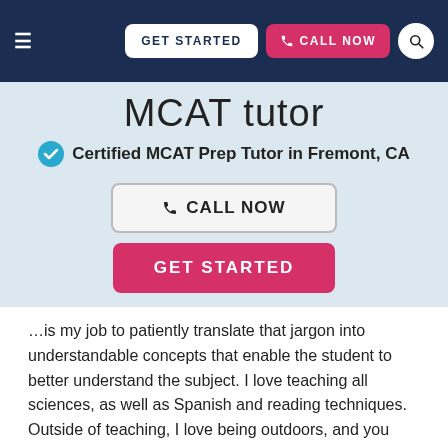GET STARTED  CALL NOW
MCAT tutor
Certified MCAT Prep Tutor in Fremont, CA
CALL NOW
GET STARTED
…is my job to patiently translate that jargon into understandable concepts that enable the student to better understand the subject. I love teaching all sciences, as well as Spanish and reading techniques. Outside of teaching, I love being outdoors, and you